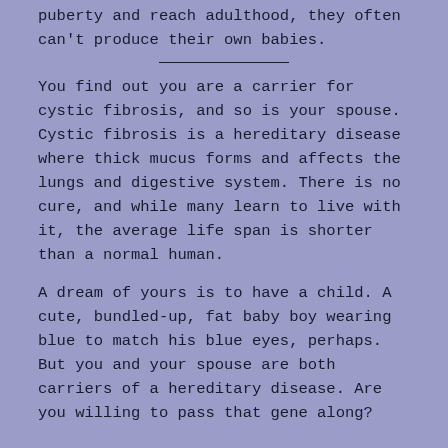puberty and reach adulthood, they often can't produce their own babies.
You find out you are a carrier for cystic fibrosis, and so is your spouse. Cystic fibrosis is a hereditary disease where thick mucus forms and affects the lungs and digestive system. There is no cure, and while many learn to live with it, the average life span is shorter than a normal human.
A dream of yours is to have a child. A cute, bundled-up, fat baby boy wearing blue to match his blue eyes, perhaps. But you and your spouse are both carriers of a hereditary disease. Are you willing to pass that gene along?